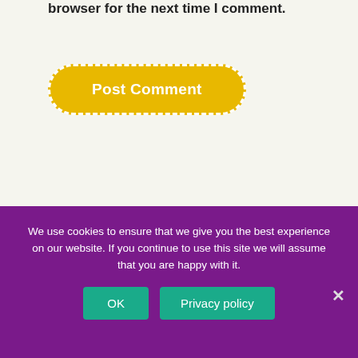browser for the next time I comment.
[Figure (other): Yellow rounded button with dashed white border labeled Post Comment]
[Figure (other): Purple wave shape separator between white content area and purple footer]
We use cookies to ensure that we give you the best experience on our website. If you continue to use this site we will assume that you are happy with it.
OK
Privacy policy